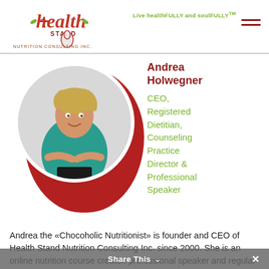[Figure (logo): Health Stand Nutrition Consulting Inc. logo with stylized text and leaf/pear motif in red and green]
Live healthFULLY and soulFULLY™
[Figure (photo): Professional photo of Andrea Holwegner in teal top with arms crossed, inside a circular frame set against a red teardrop/circle shape]
Andrea Holwegner
CEO, Registered Dietitian, Counseling Practice Director & Professional Speaker
Andrea the «Chocoholic Nutritionist» is founder and CEO of Health Stand Nutrition Consulting Inc. since 2000. She is an online nutrition course creator, professional speaker and regular guest in
Share This